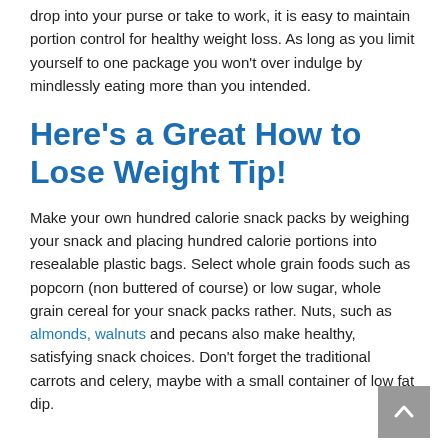drop into your purse or take to work, it is easy to maintain portion control for healthy weight loss. As long as you limit yourself to one package you won't over indulge by mindlessly eating more than you intended.
Here's a Great How to Lose Weight Tip!
Make your own hundred calorie snack packs by weighing your snack and placing hundred calorie portions into resealable plastic bags. Select whole grain foods such as popcorn (non buttered of course) or low sugar, whole grain cereal for your snack packs rather. Nuts, such as almonds, walnuts and pecans also make healthy, satisfying snack choices. Don't forget the traditional carrots and celery, maybe with a small container of low fat dip.